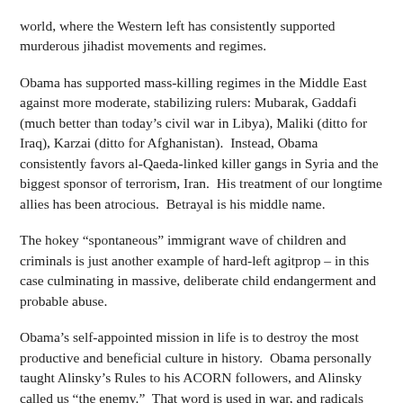world, where the Western left has consistently supported murderous jihadist movements and regimes.
Obama has supported mass-killing regimes in the Middle East against more moderate, stabilizing rulers: Mubarak, Gaddafi (much better than today’s civil war in Libya), Maliki (ditto for Iraq), Karzai (ditto for Afghanistan).  Instead, Obama consistently favors al-Qaeda-linked killer gangs in Syria and the biggest sponsor of terrorism, Iran.  His treatment of our longtime allies has been atrocious.  Betrayal is his middle name.
The hokey “spontaneous” immigrant wave of children and criminals is just another example of hard-left agitprop – in this case culminating in massive, deliberate child endangerment and probable abuse.
Obama’s self-appointed mission in life is to destroy the most productive and beneficial culture in history.  Obama personally taught Alinsky’s Rules to his ACORN followers, and Alinsky called us “the enemy.”  That word is used in war, and radicals like Obama and Malcolm X are bitter warlike